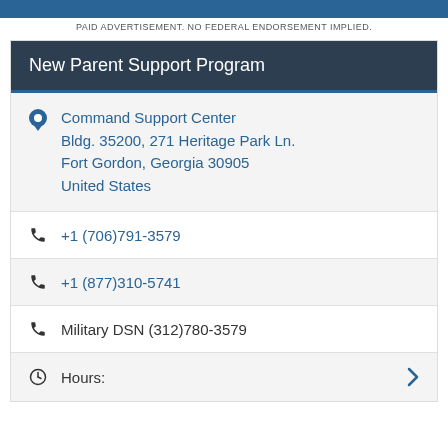[Figure (other): Blue banner image at top of page]
PAID ADVERTISEMENT. NO FEDERAL ENDORSEMENT IMPLIED.
New Parent Support Program
Command Support Center Bldg. 35200, 271 Heritage Park Ln. Fort Gordon, Georgia 30905 United States
+1 (706)791-3579
+1 (877)310-5741
Military DSN (312)780-3579
Hours: